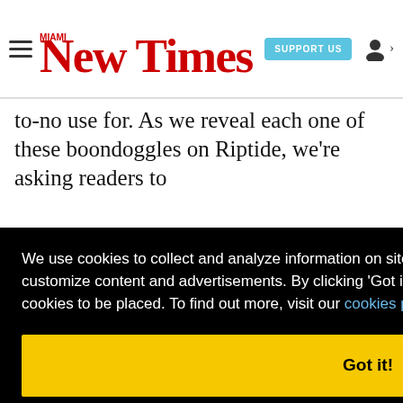Miami New Times | SUPPORT US
to-no use for. As we reveal each one of these boondoggles on Riptide, we're asking readers to ...ine ...each ...to ...est ...'ll ...n-day ...of the
We use cookies to collect and analyze information on site performance and usage, and to enhance and customize content and advertisements. By clicking 'Got it' or continuing to use the site, you agree to allow cookies to be placed. To find out more, visit our cookies policy and our privacy policy.
Got it!